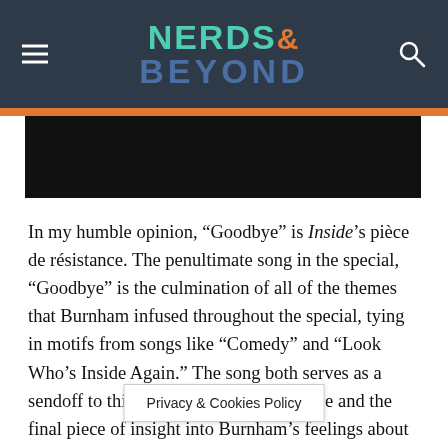NERDS& BEYOND
[Figure (photo): Black rectangular image area below header orange stripe]
In my humble opinion, “Goodbye” is Inside’s pièce de résistance. The penultimate song in the special, “Goodbye” is the culmination of all of the themes that Burnham infused throughout the special, tying in motifs from songs like “Comedy” and “Look Who’s Inside Again.” The song both serves as a sendoff to this artfully crafted experience and the final piece of insight into Burnham’s feelings about stepping into the limelight once more, all while making those final bits of commentary o…t pervade
Privacy & Cookies Policy